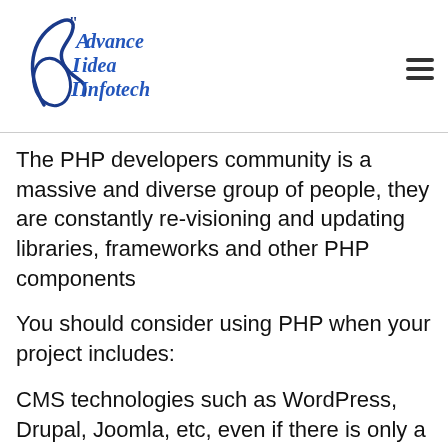[Figure (logo): Advance Idea Infotech logo with stylized calligraphic text in blue]
The PHP developers community is a massive and diverse group of people, they are constantly re-visioning and updating libraries, frameworks and other PHP components
You should consider using PHP when your project includes:
CMS technologies such as WordPress, Drupal, Joomla, etc, even if there is only a part of your project includes these